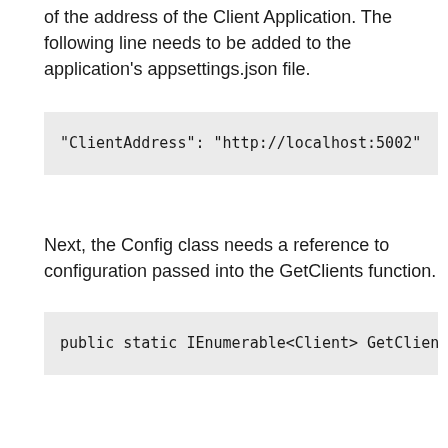of the address of the Client Application. The following line needs to be added to the application's appsettings.json file.
"ClientAddress": "http://localhost:5002"
Next, the Config class needs a reference to configuration passed into the GetClients function.
public static IEnumerable<Client> GetClients(IC
Next, the references to http://localhost:5002 need to be replaced with the value from the configuration. The following is one example.
Before: